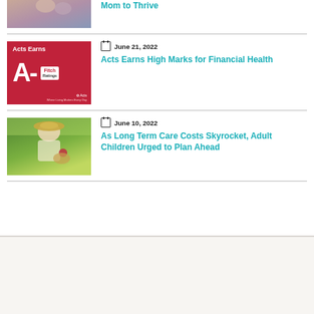[Figure (photo): Partial photo of two women embracing (cropped at top)]
Mom to Thrive
[Figure (illustration): Acts Earns A- Fitch Ratings branded graphic on red background]
June 21, 2022
Acts Earns High Marks for Financial Health
[Figure (photo): Elderly woman with hat holding red rose and flower basket outdoors]
June 10, 2022
As Long Term Care Costs Skyrocket, Adult Children Urged to Plan Ahead